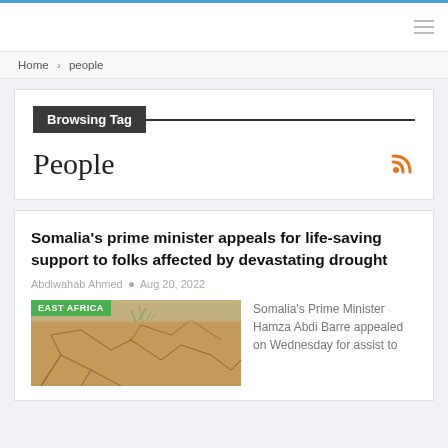Navigation bar with hamburger menu
Home > people
Browsing Tag
People
Somalia's prime minister appeals for life-saving support to folks affected by devastating drought
Abdiwahab Ahmed • Aug 20, 2022
[Figure (photo): Cracked dry earth with sparse dry grass, labeled EAST AFRICA]
Somalia's Prime Minister Hamza Abdi Barre appealed on Wednesday for assist to